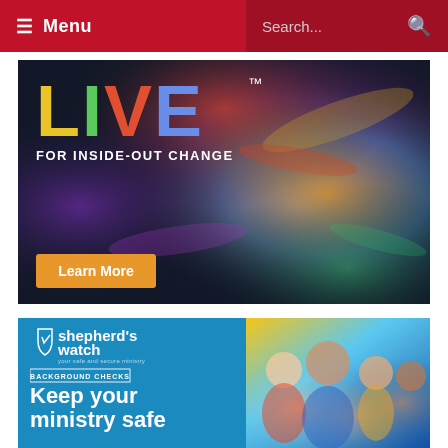≡ Menu | Search...
[Figure (photo): LIVE for Inside-Out Change advertisement banner. Colorful powder explosion background with a young woman with flowing hair. Large multicolored text 'LIVE' with tagline 'FOR INSIDE-OUT CHANGE' and an orange 'Learn More' button.]
[Figure (photo): Shepherd's Watch Background Checks advertisement. Blue left panel with shepherd's watch logo, text 'shepherd's watch', 'BACKGROUND CHECKS', 'Keep your ministry safe'. Right panel shows a group of smiling children and adults.]